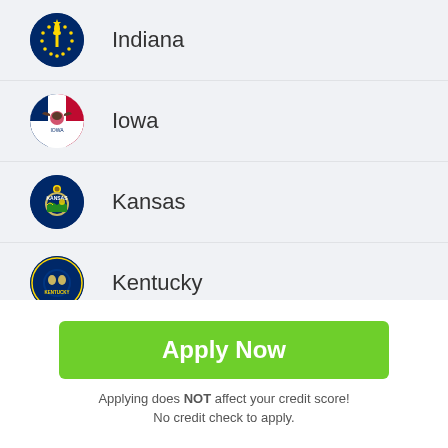Indiana
Iowa
Kansas
Kentucky
Louisiana
Maine
Apply Now
Applying does NOT affect your credit score! No credit check to apply.